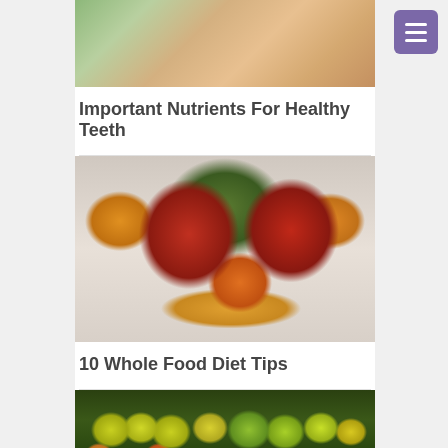[Figure (photo): Partial photo of a person's face/teeth from a dental health article, cropped showing lower face area]
Important Nutrients For Healthy Teeth
[Figure (photo): Photo of various fruits on a white plate including red apples, pineapple, orange/tangerine, and banana]
10 Whole Food Diet Tips
[Figure (photo): Photo of a produce market display showing pineapples, green vegetables, and other colorful fruits and vegetables]